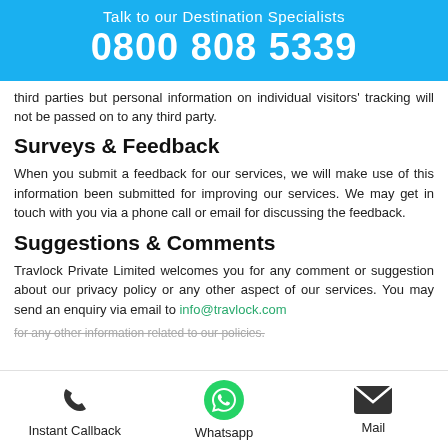Talk to our Destination Specialists
0800 808 5339
third parties but personal information on individual visitors' tracking will not be passed on to any third party.
Surveys & Feedback
When you submit a feedback for our services, we will make use of this information been submitted for improving our services. We may get in touch with you via a phone call or email for discussing the feedback.
Suggestions & Comments
Travlock Private Limited welcomes you for any comment or suggestion about our privacy policy or any other aspect of our services. You may send an enquiry via email to info@travlock.com for any other information related to our policies.
Instant Callback   Whatsapp   Mail